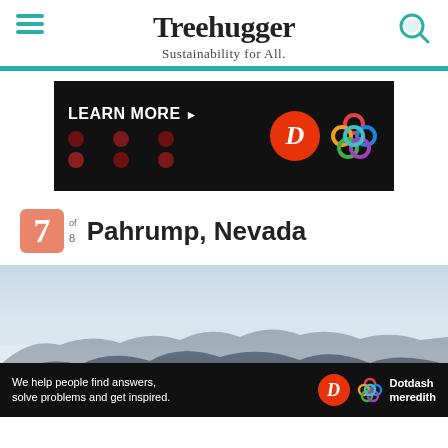Treehugger — Sustainability for All.
[Figure (infographic): Advertisement banner with black background showing LEARN MORE text, dot grid pattern, D logo circle in red/orange, and colorful Celtic knot logo]
7 of 8  Pahrump, Nevada
[Figure (photo): Landscape photograph of mountain silhouettes against a pale sky, showing rolling blue-grey mountains under a hazy light sky]
[Figure (infographic): Bottom advertisement bar: We help people find answers, solve problems and get inspired. Dotdash meredith logo]